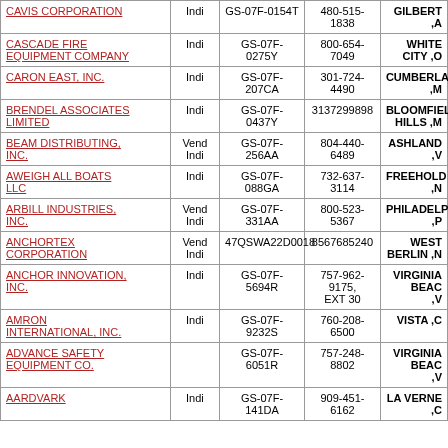| Company Name | Type | Contract Number | Phone | City, State |
| --- | --- | --- | --- | --- |
| CAVIS CORPORATION | Indi | GS-07F-0154T | 480-515-1838 | GILBERT ,A |
| CASCADE FIRE EQUIPMENT COMPANY | Indi | GS-07F-0275Y | 800-654-7049 | WHITE CITY ,O |
| CARON EAST, INC. | Indi | GS-07F-207CA | 301-724-4490 | CUMBERLAND ,M |
| BRENDEL ASSOCIATES LIMITED | Indi | GS-07F-0437Y | 3137299898 | BLOOMFIELD HILLS ,M |
| BEAM DISTRIBUTING, INC. | Vend Indi | GS-07F-256AA | 804-440-6489 | ASHLAND ,V |
| AWEIGH ALL BOATS LLC | Indi | GS-07F-088GA | 732-637-3114 | FREEHOLD ,N |
| ARBILL INDUSTRIES, INC. | Vend Indi | GS-07F-331AA | 800-523-5367 | PHILADELPHIA ,P |
| ANCHORTEX CORPORATION | Vend Indi | 47QSWA22D0018 | 8567685240 | WEST BERLIN ,N |
| ANCHOR INNOVATION, INC. | Indi | GS-07F-5694R | 757-962-9175, EXT 30 | VIRGINIA BEACH ,V |
| AMRON INTERNATIONAL, INC. | Indi | GS-07F-9232S | 760-208-6500 | VISTA ,C |
| ADVANCE SAFETY EQUIPMENT CO. |  | GS-07F-6051R | 757-248-8802 | VIRGINIA BEACH ,V |
| AARDVARK | Indi | GS-07F-141DA | 909-451-6162 | LA VERNE ,C |